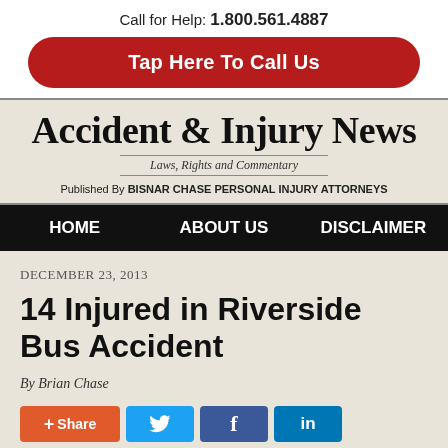Call for Help: 1.800.561.4887
[Figure (other): Red rounded rectangle button with white bold text 'Tap Here To Call Us']
Accident & Injury News
Laws, Rights and Commentary
Published By BISNAR CHASE PERSONAL INJURY ATTORNEYS
HOME   ABOUT US   DISCLAIMER
DECEMBER 23, 2013
14 Injured in Riverside Bus Accident
By Brian Chase
[Figure (infographic): Social share buttons: orange + Share, blue Twitter bird, blue Facebook f, blue LinkedIn in]